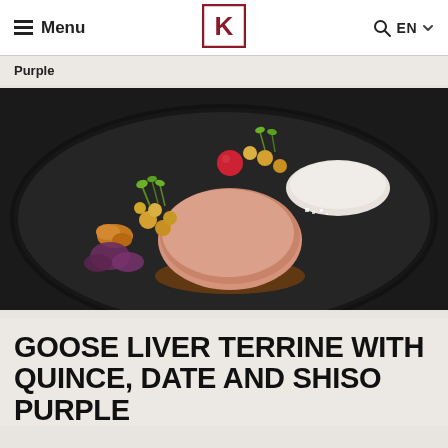Menu | K logo | EN
Purple
[Figure (photo): Fine dining plate on a dark round plate: a circular goose liver terrine in the center, accompanied by small colorful garnishes including green microgreens, orange crumble, red cherry tomato or berry, golden spheres, purple shiso leaves, a white quenelle/mousse at top right, scattered white crystals (salt), and a pool of brown sauce below the terrine.]
GOOSE LIVER TERRINE WITH QUINCE, DATE AND SHISO PURPLE